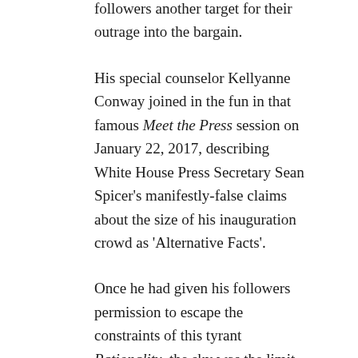followers another target for their outrage into the bargain.
His special counselor Kellyanne Conway joined in the fun in that famous Meet the Press session on January 22, 2017, describing White House Press Secretary Sean Spicer's manifestly-false claims about the size of his inauguration crowd as 'Alternative Facts'.
Once he had given his followers permission to escape the constraints of this tyrant Rationality, the sky was the limit. Conspiracy theories, climate change denial, vaccination rejection, paranoid ideas about distant or alien groups, authorities – 'Brussels' for the Europhobe, 'Washington' for the frontiersman – 'others'. Logical argument bounced off followers like water off the oiliest of ducks. Rationality, they hymned, was 'just another